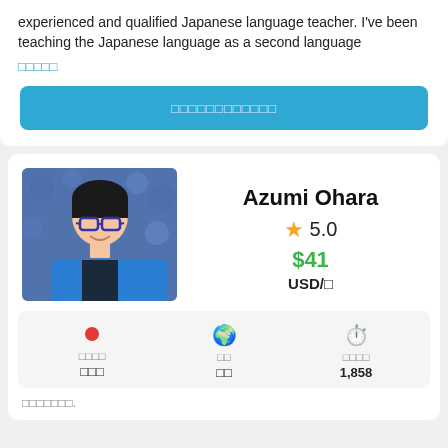experienced and qualified Japanese language teacher. I've been teaching the Japanese language as a second language
□□□□□
□□□□□□□□□□□□
Azumi Ohara
5.0
$41
USD/□
[Figure (photo): Profile photo of Azumi Ohara, a Japanese woman with glasses wearing a blue top, smiling in front of a decorative blue background]
□□□□
□□□
□□
□□
□□□□
1,858
□□□□□□□.